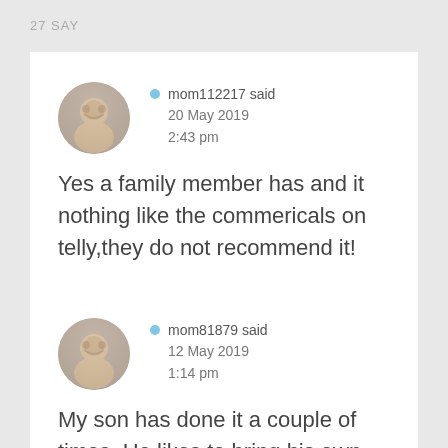27 SAY
[Figure (photo): Circular avatar photo of a person, used as comment profile picture for mom112217]
mom112217 said
20 May 2019
2:43 pm
Yes a family member has and it nothing like the commericals on telly,they do not recommend it!
[Figure (photo): Circular avatar photo of a person, used as comment profile picture for mom81879]
mom81879 said
12 May 2019
1:14 pm
My son has done it a couple of times. He likes to bring his own vehicle so he comes by boat